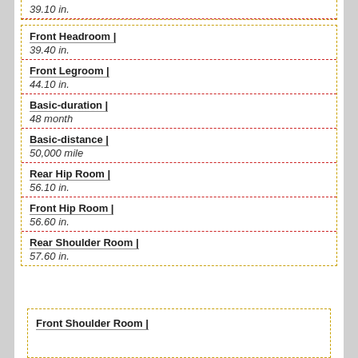39.10 in.
Front Headroom |
39.40 in.
Front Legroom |
44.10 in.
Basic-duration |
48 month
Basic-distance |
50,000 mile
Rear Hip Room |
56.10 in.
Front Hip Room |
56.60 in.
Rear Shoulder Room |
57.60 in.
Front Shoulder Room |